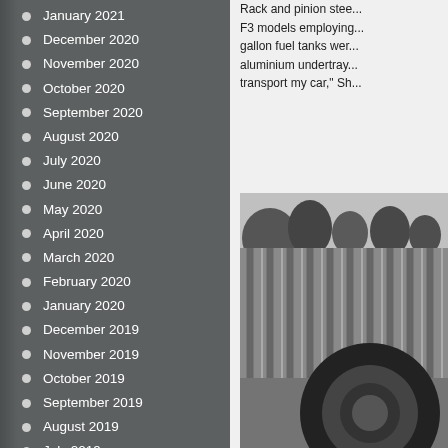January 2021
December 2020
November 2020
October 2020
September 2020
August 2020
July 2020
June 2020
May 2020
April 2020
March 2020
February 2020
January 2020
December 2019
November 2019
October 2019
September 2019
August 2019
July 2019
June 2019
Rack and pinion stee... F3 models employing... gallon fuel tanks wer... aluminium undertray... transport my car," Sh...
[Figure (photo): Black and white photo showing a racing car tire near a wooden fence background]